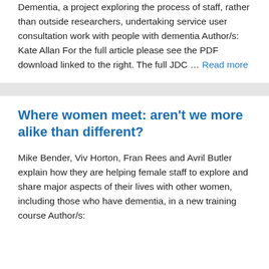Dementia, a project exploring the process of staff, rather than outside researchers, undertaking service user consultation work with people with dementia Author/s: Kate Allan For the full article please see the PDF download linked to the right. The full JDC … Read more
Where women meet: aren't we more alike than different?
Mike Bender, Viv Horton, Fran Rees and Avril Butler explain how they are helping female staff to explore and share major aspects of their lives with other women, including those who have dementia, in a new training course Author/s: